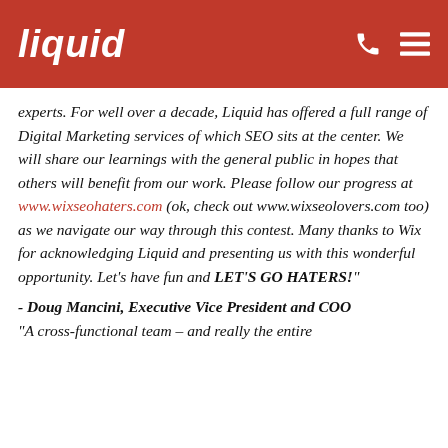liquid
experts. For well over a decade, Liquid has offered a full range of Digital Marketing services of which SEO sits at the center. We will share our learnings with the general public in hopes that others will benefit from our work. Please follow our progress at www.wixseohaters.com (ok, check out www.wixseolovers.com too) as we navigate our way through this contest. Many thanks to Wix for acknowledging Liquid and presenting us with this wonderful opportunity. Let's have fun and LET'S GO HATERS!"
- Doug Mancini, Executive Vice President and COO
"A cross-functional team – and really the entire